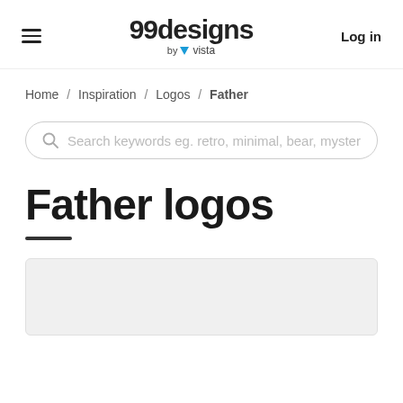99designs by vista | Log in
Home / Inspiration / Logos / Father
Search keywords eg. retro, minimal, bear, myster
Father logos
[Figure (other): Partially visible logo design image at the bottom of the page]